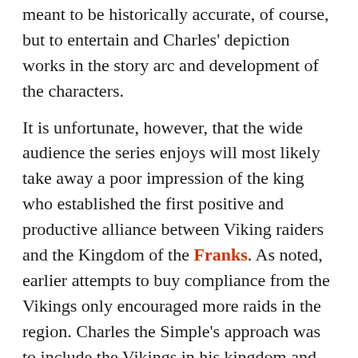meant to be historically accurate, of course, but to entertain and Charles' depiction works in the story arc and development of the characters.
It is unfortunate, however, that the wide audience the series enjoys will most likely take away a poor impression of the king who established the first positive and productive alliance between Viking raiders and the Kingdom of the Franks. As noted, earlier attempts to buy compliance from the Vikings only encouraged more raids in the region. Charles the Simple's approach was to include the Vikings in his kingdom and, in doing so, welcome them as equals instead of treating them as outsiders.
Did you like this definition?
[Figure (illustration): Thumbs up and thumbs down icons in grey]